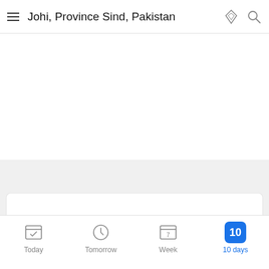Johi, Province Sind, Pakistan
[Figure (screenshot): Weather app screenshot showing blank white content area for Johi, Province Sind, Pakistan]
Today  Tomorrow  Week  10 days